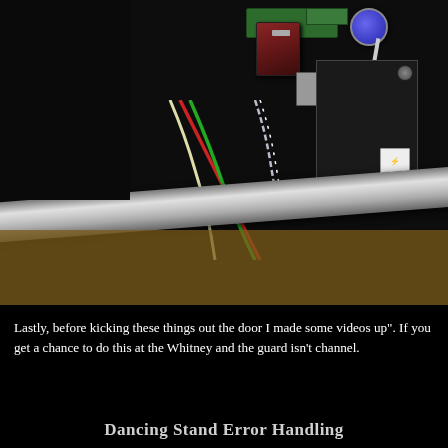[Figure (photo): Close-up photo of electronic components mounted on a dark metal surface/chassis. Shows a green PCB board, a red/maroon rectangular component, gray connectors, a blue rotary knob with white wire, twisted colored wires (red, green, white), and a black metal bracket with screws. A silver metal rail/rod runs diagonally across the lower portion of the image over a brown cardboard background.]
Lastly, before kicking these things out the door I made some videos up". If you get a chance to do this at the Whitney and the guard isn't channel.
Dancing Stand Error Handling